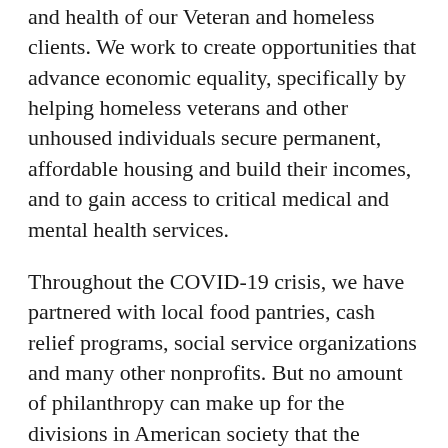and health of our Veteran and homeless clients. We work to create opportunities that advance economic equality, specifically by helping homeless veterans and other unhoused individuals secure permanent, affordable housing and build their incomes, and to gain access to critical medical and mental health services.
Throughout the COVID-19 crisis, we have partnered with local food pantries, cash relief programs, social service organizations and many other nonprofits. But no amount of philanthropy can make up for the divisions in American society that the pandemic has exposed and deepened.
To our fellow citizens who are giving voice to their frustration, fears and anger on the city